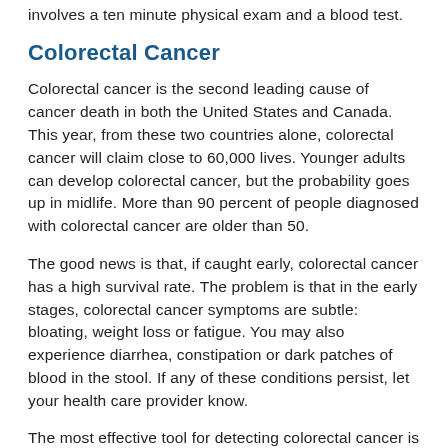involves a ten minute physical exam and a blood test.
Colorectal Cancer
Colorectal cancer is the second leading cause of cancer death in both the United States and Canada. This year, from these two countries alone, colorectal cancer will claim close to 60,000 lives. Younger adults can develop colorectal cancer, but the probability goes up in midlife. More than 90 percent of people diagnosed with colorectal cancer are older than 50.
The good news is that, if caught early, colorectal cancer has a high survival rate. The problem is that in the early stages, colorectal cancer symptoms are subtle: bloating, weight loss or fatigue. You may also experience diarrhea, constipation or dark patches of blood in the stool. If any of these conditions persist, let your health care provider know.
The most effective tool for detecting colorectal cancer is a colonoscopy. This procedure, which involves the use of a long, flexible, lighted tube, allows the doctor to look for and remove growths, called polyps, and later test them for signs of cancer. A colonoscopy usually takes